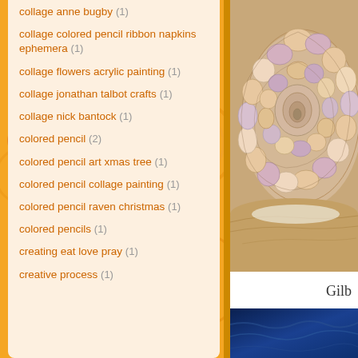collage anne bugby (1)
collage colored pencil ribbon napkins ephemera (1)
collage flowers acrylic painting (1)
collage jonathan talbot crafts (1)
collage nick bantock (1)
colored pencil (2)
colored pencil art xmas tree (1)
colored pencil collage painting (1)
colored pencil raven christmas (1)
colored pencils (1)
creating eat love pray (1)
creative process (1)
[Figure (illustration): Detailed colored pencil illustration of a snail shell, showing intricate scales/tiles in peach, lavender and cream tones against an orange-brown background]
Gilb
[Figure (photo): Partial photo with dark blue tones, bottom right corner]